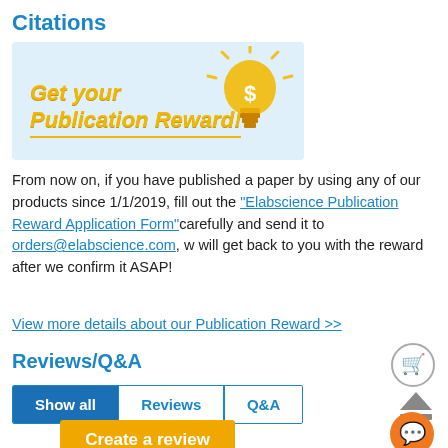Citations
[Figure (illustration): Promotional banner with light blue background, bold italic yellow text reading 'Get your Publication Reward!' with a yellow light bulb icon containing a dollar sign]
From now on, if you have published a paper by using any of our products since 1/1/2019, fill out the "Elabscience Publication Reward Application Form" carefully and send it to orders@elabscience.com, w will get back to you with the reward after we confirm it ASAP!
View more details about our Publication Reward >>
Reviews/Q&A
Show all | Reviews | Q&A
Create a review